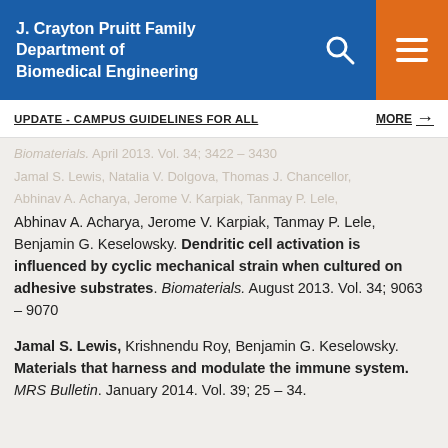J. Crayton Pruitt Family Department of Biomedical Engineering
UPDATE - CAMPUS GUIDELINES FOR ALL   MORE →
Biomaterials. April 2013. Vol. 34; 3422 – 3430
Jamal S. Lewis, Natalia V. Dolgova, Thomas J. Chancellor, Abhinav A. Acharya, Jerome V. Karpiak, Tanmay P. Lele, Benjamin G. Keselowsky. Dendritic cell activation is influenced by cyclic mechanical strain when cultured on adhesive substrates. Biomaterials. August 2013. Vol. 34; 9063 – 9070
Jamal S. Lewis, Krishnendu Roy, Benjamin G. Keselowsky. Materials that harness and modulate the immune system. MRS Bulletin. January 2014. Vol. 39; 25 – 34.